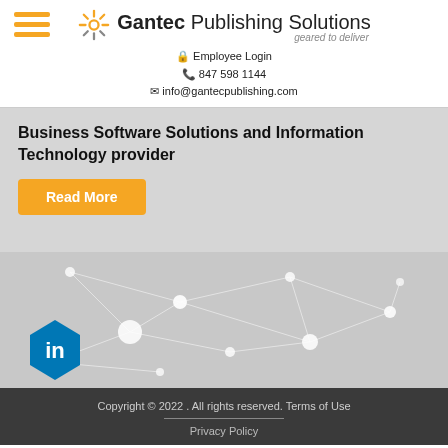[Figure (logo): Gantec Publishing Solutions logo with sunburst icon, company name, and tagline 'geared to deliver']
Employee Login
847 598 1144
info@gantecpublishing.com
Business Software Solutions and Information Technology provider
Read More
[Figure (illustration): Network connectivity graphic with dots and lines on grey background, LinkedIn icon in bottom left]
Copyright © 2022 . All rights reserved. Terms of Use
Privacy Policy